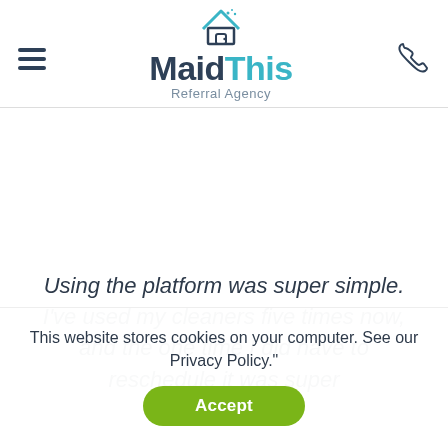[Figure (logo): MaidThis Referral Agency logo with house icon, hamburger menu on the left, phone icon on the right]
Using the platform was super simple. I've used my cleaners five times now, and the one time I did have to reschedule it was super
This website stores cookies on your computer. See our Privacy Policy."
Accept